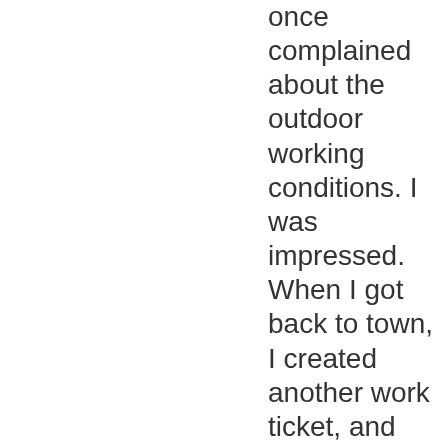once complained about the outdoor working conditions. I was impressed. When I got back to town, I created another work ticket, and the customer service process repeated itself, leading to a perfect resolution to the problem. I was very impressed